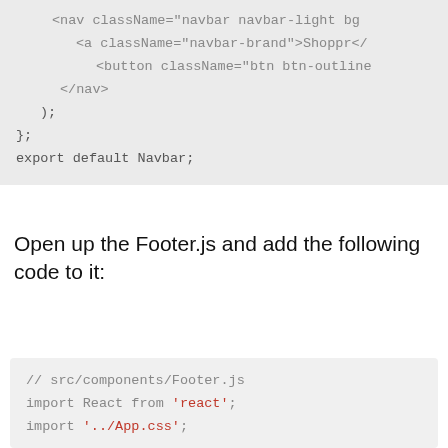[Figure (screenshot): Code block showing JSX navbar code with colored syntax highlighting: nav className, a className navbar-brand Shoppr, button className btn btn-outline, closing nav tag, closing parenthesis, closing brace, export default Navbar]
Open up the Footer.js and add the following code to it:
[Figure (screenshot): Code block showing Footer.js code: comment // src/components/Footer.js, import React from 'react';, import '../App.css';, blank line, const Footer = () => {]